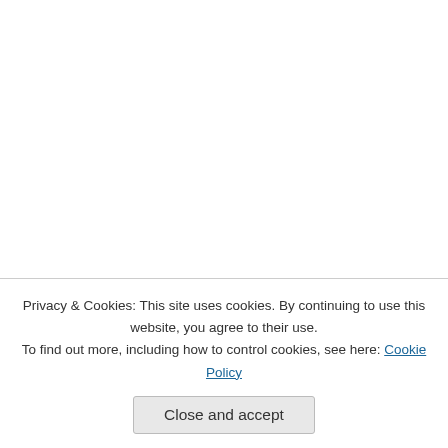[Figure (photo): Avatar image for wiseandlovelyme - abstract reddish/blue landscape photo]
wiseandlovelyme says:
Thanks for visiting my blog! I s... Stop by again soon. Enjoy life
★ Liked by 1 person
Reply
[Figure (photo): Avatar image for patchingcracks - two children photo]
patchingcracks says:
Thanks for comme... check out your blog
Privacy & Cookies: This site uses cookies. By continuing to use this website, you agree to their use. To find out more, including how to control cookies, see here: Cookie Policy
Close and accept